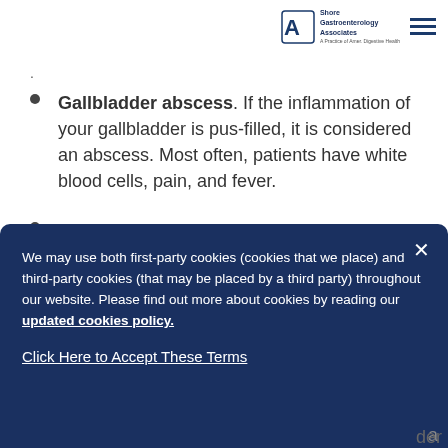[Figure (logo): Shore Gastroenterology Associates logo with navigation hamburger menu lines]
Gallbladder abscess. If the inflammation of your gallbladder is pus-filled, it is considered an abscess. Most often, patients have white blood cells, pain, and fever.
Sclerosing cholangitis. This condition occurs when there is scarring of the bile duct, but the cause of sclerosing cholangitis in most cases is unknown. Many people do not have symptoms, but if they do, they experience jaundice (yellowing of the skin
We may use both first-party cookies (cookies that we place) and third-party cookies (that may be placed by a third party) throughout our website. Please find out more about cookies by reading our updated cookies policy.
Click Here to Accept These Terms